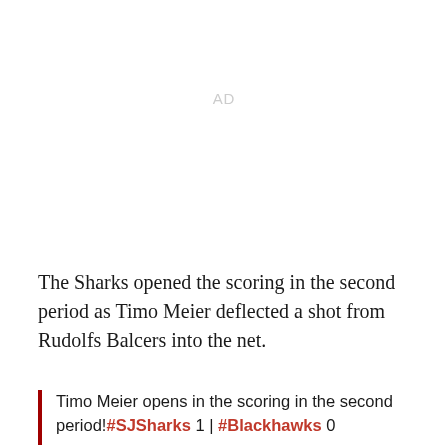AD
The Sharks opened the scoring in the second period as Timo Meier deflected a shot from Rudolfs Balcers into the net.
Timo Meier opens in the scoring in the second period!#SJSharks 1 | #Blackhawks 0